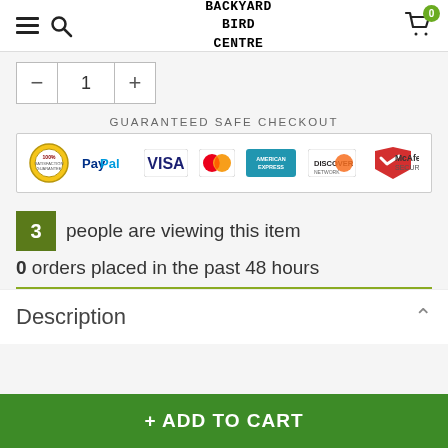Backyard Bird Centre
[Figure (screenshot): Quantity selector with minus, 1, and plus buttons]
[Figure (infographic): Guaranteed Safe Checkout banner with PayPal, Visa, MasterCard, American Express, Discover, and McAfee Secure logos]
3 people are viewing this item
0 orders placed in the past 48 hours
Description
+ ADD TO CART